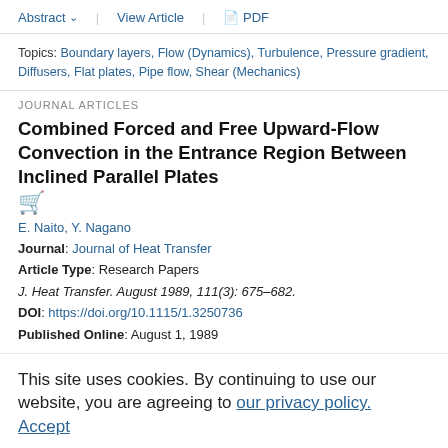Abstract  View Article  PDF
Topics: Boundary layers, Flow (Dynamics), Turbulence, Pressure gradient, Diffusers, Flat plates, Pipe flow, Shear (Mechanics)
JOURNAL ARTICLES
Combined Forced and Free Upward-Flow Convection in the Entrance Region Between Inclined Parallel Plates
E. Naito, Y. Nagano
Journal: Journal of Heat Transfer
Article Type: Research Papers
J. Heat Transfer. August 1989, 111(3): 675–682.
DOI: https://doi.org/10.1115/1.3250736
Published Online: August 1, 1989
This site uses cookies. By continuing to use our website, you are agreeing to our privacy policy. Accept